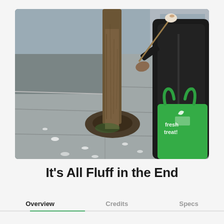[Figure (photo): Outdoor street photo showing a tree trunk on a sidewalk, a person in a dark jacket holding a stick with a marshmallow roasting over it, and carrying a bright green Whole Foods 'fresh treat' reusable bag. A car is partially visible in the background.]
It's All Fluff in the End
Overview   Credits   Specs